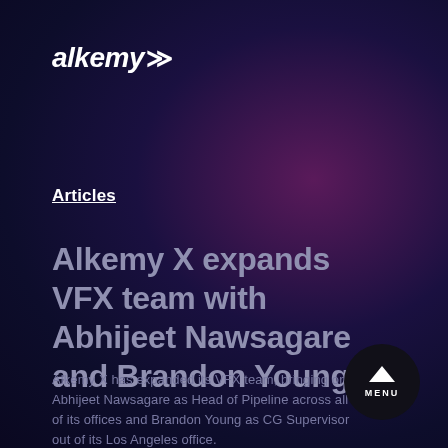[Figure (logo): Alkemy X logo — white bold italic text 'alkemy' followed by double chevron/arrow symbol 'X' in white]
Articles
Alkemy X expands VFX team with Abhijeet Nawsagare and Brandon Young
Alkemy X has expanded its VFX team, bringing on Abhijeet Nawsagare as Head of Pipeline across all of its offices and Brandon Young as CG Supervisor out of its Los Angeles office.